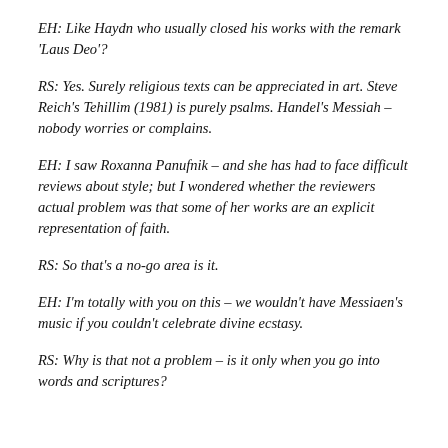EH: Like Haydn who usually closed his works with the remark 'Laus Deo'?
RS: Yes. Surely religious texts can be appreciated in art. Steve Reich's Tehillim (1981) is purely psalms. Handel's Messiah – nobody worries or complains.
EH: I saw Roxanna Panufnik – and she has had to face difficult reviews about style; but I wondered whether the reviewers actual problem was that some of her works are an explicit representation of faith.
RS: So that's a no-go area is it.
EH: I'm totally with you on this – we wouldn't have Messiaen's music if you couldn't celebrate divine ecstasy.
RS: Why is that not a problem – is it only when you go into words and scriptures?